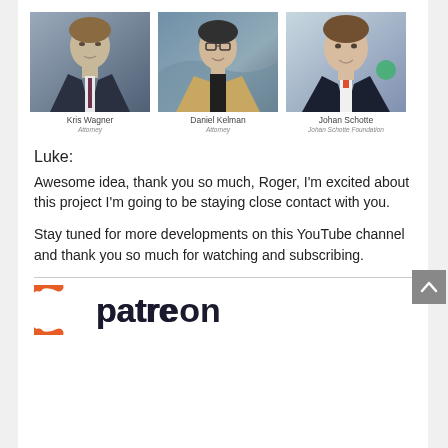[Figure (photo): Three headshot photos side by side: Kris Wagner (Attorney), Daniel Kelman (Attorney), Johan Schotte (Johan Schotte Foundation)]
Luke:
Awesome idea, thank you so much, Roger, I'm excited about this project I'm going to be staying close contact with you.
Stay tuned for more developments on this YouTube channel and thank you so much for watching and subscribing.
[Figure (logo): Patreon logo (partial) showing orange circular arc and dark text 'patreon']